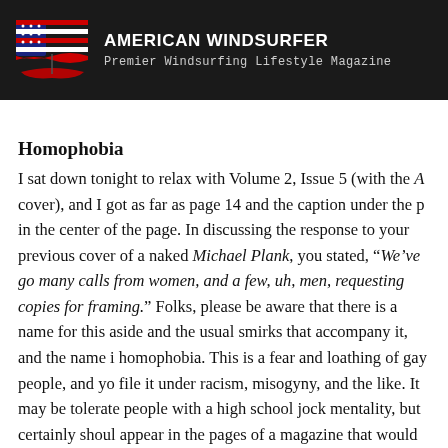AMERICAN WINDSURFER
Premier Windsurfing Lifestyle Magazine
Homophobia
I sat down tonight to relax with Volume 2, Issue 5 (with the A cover), and I got as far as page 14 and the caption under the p in the center of the page. In discussing the response to your previous cover of a naked Michael Plank, you stated, “We’ve go many calls from women, and a few, uh, men, requesting copies for framing.” Folks, please be aware that there is a name for this aside and the usual smirks that accompany it, and the name i homophobia. This is a fear and loathing of gay people, and yo file it under racism, misogyny, and the like. It may be tolerate people with a high school jock mentality, but certainly shoul appear in the pages of a magazine that would like to appeal t educated adults. I will spare you the remainder of the tirade v homophobia provokes in me, but please be aware of how you